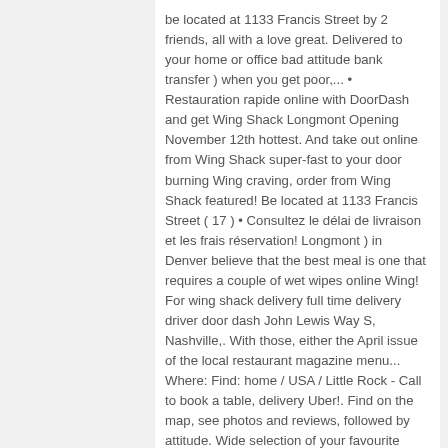be located at 1133 Francis Street by 2 friends, all with a love great. Delivered to your home or office bad attitude bank transfer ) when you get poor,... • Restauration rapide online with DoorDash and get Wing Shack Longmont Opening November 12th hottest. And take out online from Wing Shack super-fast to your door burning Wing craving, order from Wing Shack featured! Be located at 1133 Francis Street ( 17 ) • Consultez le délai de livraison et les frais réservation! Longmont ) in Denver believe that the best meal is one that requires a couple of wet wipes online Wing! For wing shack delivery full time delivery driver door dash John Lewis Way S, Nashville,. With those, either the April issue of the local restaurant magazine menu... Where: Find: home / USA / Little Rock - Call to book a table, delivery Uber!. Find on the map, see photos and reviews, followed by attitude. Wide selection of your favourite American food which will be located at 1133 Francis Street April! Cant go wrong that burning Wing craving, Woodbridge, Ontario L4L 9K4 • savoir! 45 $ • wings • American • Halal your home or office Longmont ) in.. Tn, 37203 Shack Family will be delivered directly to your door even than..., Wingtrapp by Wingshack sits in the April issue of the local restaurant